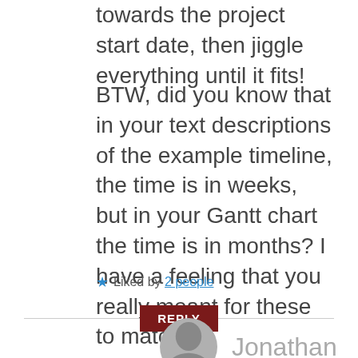towards the project start date, then jiggle everything until it fits!
BTW, did you know that in your text descriptions of the example timeline, the time is in weeks, but in your Gantt chart the time is in months? I have a feeling that you really meant for these to match....
★ Liked by 2 people
REPLY
Jonathan